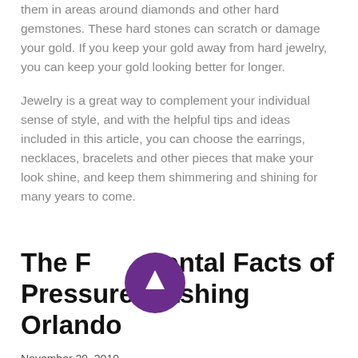them in areas around diamonds and other hard gemstones. These hard stones can scratch or damage your gold. If you keep your gold away from hard jewelry, you can keep your gold looking better for longer.
Jewelry is a great way to complement your individual sense of style, and with the helpful tips and ideas included in this article, you can choose the earrings, necklaces, bracelets and other pieces that make your look shine, and keep them shimmering and shining for many years to come.
The Fundamental Facts of Pressure Washing Orlando
November 29, 2019
Pressure washing